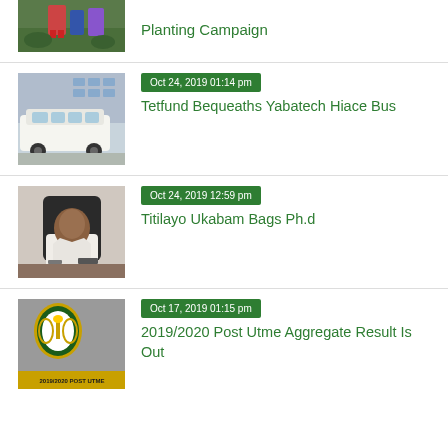[Figure (photo): Partial image of people planting trees, cropped at top of page]
Planting Campaign
[Figure (photo): White Toyota Hiace bus parked outside a building]
Oct 24, 2019 01:14 pm
Tetfund Bequeaths Yabatech Hiace Bus
[Figure (photo): Woman in white jacket seated at a desk, smiling]
Oct 24, 2019 12:59 pm
Titilayo Ukabam Bags Ph.d
[Figure (photo): Grey background image with Yabatech logo/crest and text '2019/2020 POST UTME']
Oct 17, 2019 01:15 pm
2019/2020 Post Utme Aggregate Result Is Out